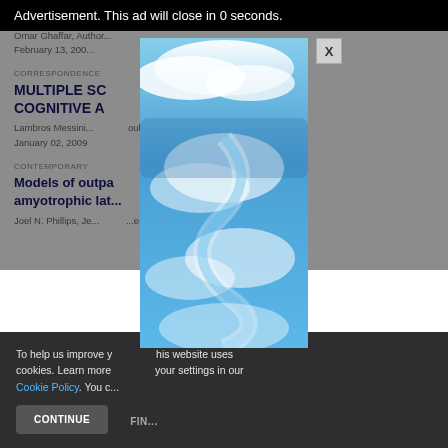A cognitive and psychiatric study
Omar Ghaffar, Author...
February 13, 200...
CORRESPONDENCE
MULTIPLE SCLEROSIS: A COGNITIVE AND PSYCHIATRIC STUDY
Lambros Messinis, ..., ...oulos
January 02, 2009
CONTEMPORARY
Models of outpatient care for patients with amyotrophic late...
Joel N. Phillips, Je..., ...er, et al
To help us improve your experience, this website uses cookies. Learn more and manage your settings in our Cookie Policy. You c...
CONTINUE    FIND...
[Figure (screenshot): Advertisement overlay with sky/clouds image and close button X, with ad bar reading: Advertisement. This ad will close in 0 seconds.]